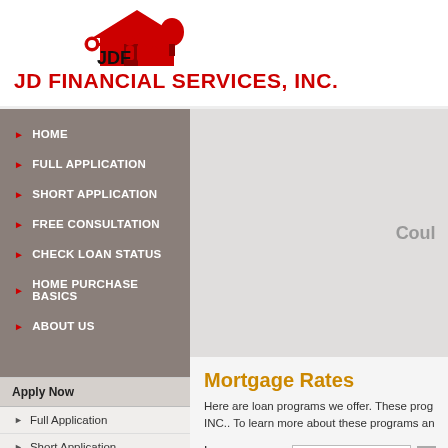[Figure (logo): JDF logo — red silhouette of house with family figures and key, with JDF text below in black bold]
JD FINANCIAL SERVICES, INC.
HOME
FULL APPLICATION
SHORT APPLICATION
FREE CONSULTATION
CHECK LOAN STATUS
HOME PURCHASE BASICS
ABOUT US
Apply Now
Full Application
Short Application
Resources & Tools
Mortgage Rates
Mortgage Calculators
Coul
Mortgage Rates
Here are loan programs we offer. These prog INC.. To learn more about these programs an
Loan Amount:   $